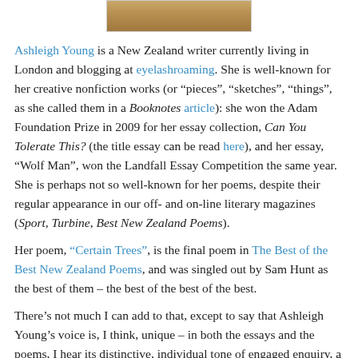[Figure (photo): Top portion of a photograph, showing what appears to be a close-up of a person's face/hair in warm golden tones.]
Ashleigh Young is a New Zealand writer currently living in London and blogging at eyelashroaming. She is well-known for her creative nonfiction works (or “pieces”, “sketches”, “things”, as she called them in a Booknotes article): she won the Adam Foundation Prize in 2009 for her essay collection, Can You Tolerate This? (the title essay can be read here), and her essay, “Wolf Man”, won the Landfall Essay Competition the same year. She is perhaps not so well-known for her poems, despite their regular appearance in our off- and on-line literary magazines (Sport, Turbine, Best New Zealand Poems).
Her poem, “Certain Trees”, is the final poem in The Best of the Best New Zealand Poems, and was singled out by Sam Hunt as the best of them – the best of the best of the best.
There’s not much I can add to that, except to say that Ashleigh Young’s voice is, I think, unique – in both the essays and the poems, I hear its distinctive, individual tone of engaged enquiry, a